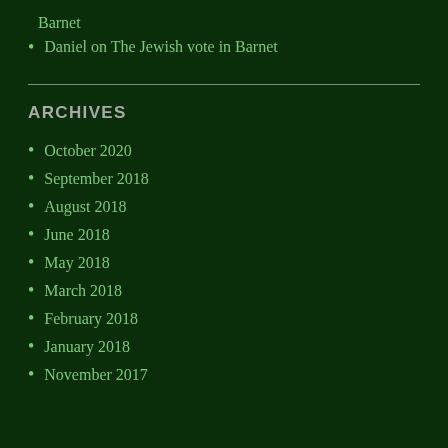Barnet
Daniel on The Jewish vote in Barnet
ARCHIVES
October 2020
September 2018
August 2018
June 2018
May 2018
March 2018
February 2018
January 2018
November 2017